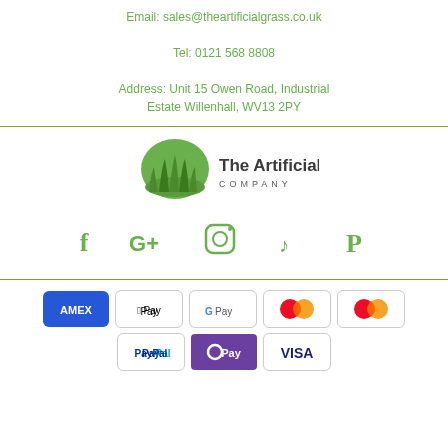Email: sales@theartificialgrass.co.uk
Tel: 0121 568 8808
Address: Unit 15 Owen Road, Industrial Estate Willenhall, WV13 2PY
[Figure (logo): The Artificial Grass Company logo with green grass illustration and company name]
[Figure (infographic): Social media icons: Facebook, Google+, Instagram, TikTok, Pinterest — all in green]
[Figure (infographic): Payment method logos: AMEX, Apple Pay, Google Pay, Mastercard, Mastercard, PayPal, OPay, VISA]